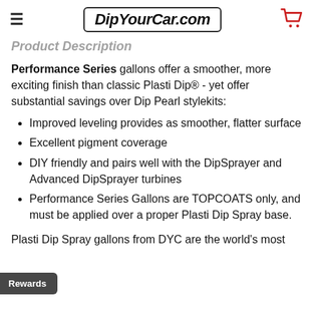DipYourCar.com
Product Description
Performance Series gallons offer a smoother, more exciting finish than classic Plasti Dip® - yet offer substantial savings over Dip Pearl stylekits:
Improved leveling provides as smoother, flatter surface
Excellent pigment coverage
DIY friendly and pairs well with the DipSprayer and Advanced DipSprayer turbines
Performance Series Gallons are TOPCOATS only, and must be applied over a proper Plasti Dip Spray base.
Plasti Dip Spray gallons from DYC are the world's most